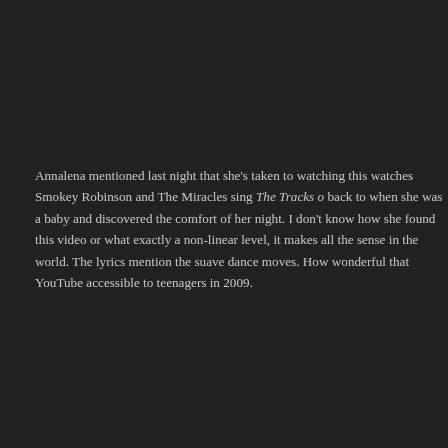Annalena mentioned last night that she's taken to watching this watches Smokey Robinson and The Miracles sing The Tracks of back to when she was a baby and discovered the comfort of her night. I don't know how she found this video or what exactly a non-linear level, it makes all the sense in the world. The lyrics mention the suave dance moves. How wonderful that YouTube accessible to teenagers in 2009.
[Figure (illustration): Facebook share icon (blue F logo) and a Share button]
Filed Under: family, music, parenting, teenagers • 3 C